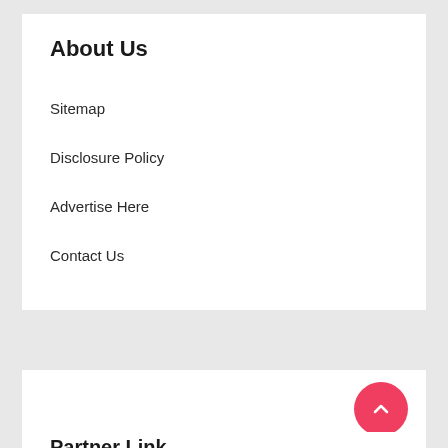About Us
Sitemap
Disclosure Policy
Advertise Here
Contact Us
[Figure (other): Empty white card section]
Partner Link